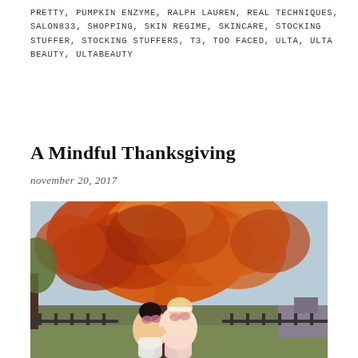PRETTY, PUMPKIN ENZYME, RALPH LAUREN, REAL TECHNIQUES, SALON833, SHOPPING, SKIN REGIME, SKINCARE, STOCKING STUFFER, STOCKING STUFFERS, T3, TOO FACED, ULTA, ULTA BEAUTY, ULTABEAUTY
A Mindful Thanksgiving
november 20, 2017
[Figure (photo): Two women smiling and embracing outdoors in front of a large tree with vivid orange and red autumn foliage. The scene is a sunny fall day in a park or street setting.]